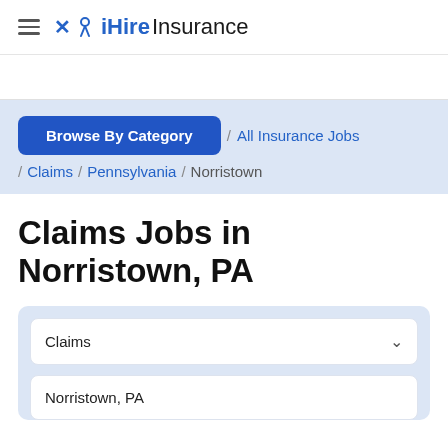iHireInsurance
Browse By Category / All Insurance Jobs / Claims / Pennsylvania / Norristown
Claims Jobs in Norristown, PA
Claims
Norristown, PA